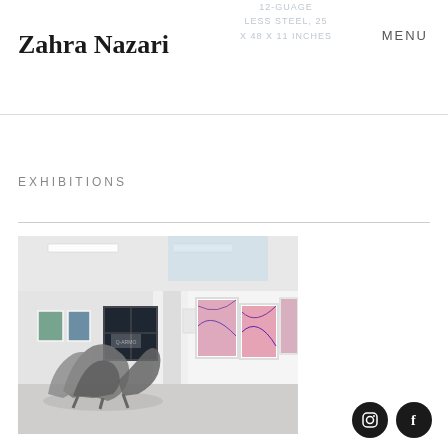Zahra Nazari | 12-GUAGE STAINLESS STEEL, 25 X 48 X 11 INCHES | 12-GUAGE STAINLESS STEEL, 25 X 48 X 11 INCHES | MENU
EXHIBITIONS
[Figure (photo): Art gallery interior showing a metal sculpture in the foreground and colorful framed artworks hanging on white walls, with fluorescent lighting and large windows in the background.]